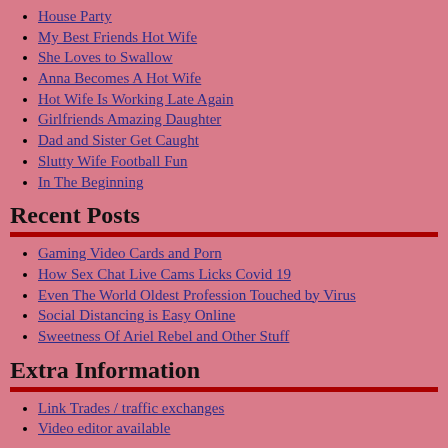House Party
My Best Friends Hot Wife
She Loves to Swallow
Anna Becomes A Hot Wife
Hot Wife Is Working Late Again
Girlfriends Amazing Daughter
Dad and Sister Get Caught
Slutty Wife Football Fun
In The Beginning
Recent Posts
Gaming Video Cards and Porn
How Sex Chat Live Cams Licks Covid 19
Even The World Oldest Profession Touched by Virus
Social Distancing is Easy Online
Sweetness Of Ariel Rebel and Other Stuff
Extra Information
Link Trades / traffic exchanges
Video editor available